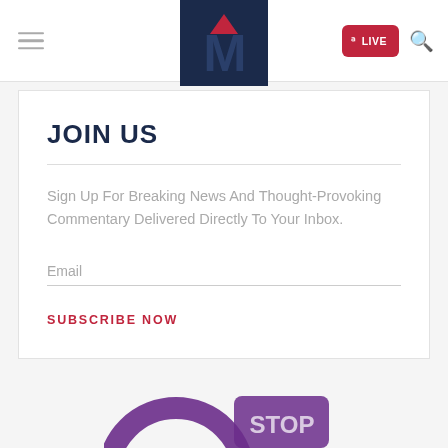Mediaite — navigation bar with hamburger menu, logo, LIVE button, search icon
JOIN US
Sign Up For Breaking News And Thought-Provoking Commentary Delivered Directly To Your Inbox.
Email
SUBSCRIBE NOW
[Figure (logo): Partial purple illustrated circular graphic visible at bottom of page]